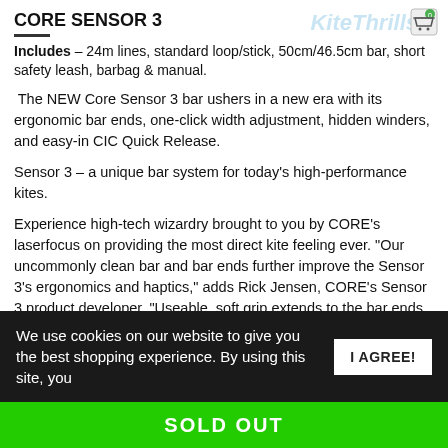CORE SENSOR 3
Includes – 24m lines, standard loop/stick, 50cm/46.5cm bar, short safety leash, barbag & manual.
The NEW Core Sensor 3 bar ushers in a new era with its ergonomic bar ends, one-click width adjustment, hidden winders, and easy-in CIC Quick Release.
Sensor 3 – a unique bar system for today's high-performance kites.
Experience high-tech wizardry brought to you by CORE's laserfocus on providing the most direct kite feeling ever. "Our uncommonly clean bar and bar ends further improve the Sensor 3's ergonomics and haptics," adds Rick Jensen, CORE's Sensor 3 product developer. "Useable, soft grip extends to the bar ends to give you
We use cookies on our website to give you the best shopping experience. By using this site, you
I AGREE!
SOLD OUT